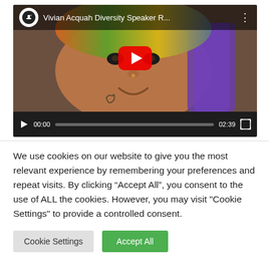[Figure (screenshot): YouTube video player showing 'Vivian Acquah Diversity Speaker R...' with a thumbnail of a woman wearing a colorful head wrap and Africa tattoo on her neck. Controls show 00:00 / 02:39.]
We use cookies on our website to give you the most relevant experience by remembering your preferences and repeat visits. By clicking “Accept All”, you consent to the use of ALL the cookies. However, you may visit "Cookie Settings" to provide a controlled consent.
Cookie Settings
Accept All